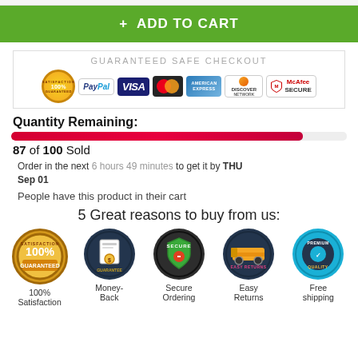[Figure (screenshot): Add to Cart green button with plus sign]
[Figure (infographic): Guaranteed Safe Checkout panel with PayPal, Visa, MasterCard, American Express, Discover, and McAfee Secure badges]
Quantity Remaining:
[Figure (infographic): Red progress bar showing 87% filled (87 of 100 sold)]
87 of 100 Sold
Order in the next 6 hours 49 minutes to get it by THU Sep 01
People have this product in their cart
5 Great reasons to buy from us:
[Figure (infographic): Five circular trust badge icons: 100% Satisfaction Guaranteed, Money-Back Guarantee, Secure Ordering, Easy Returns, Free shipping (Premium Quality)]